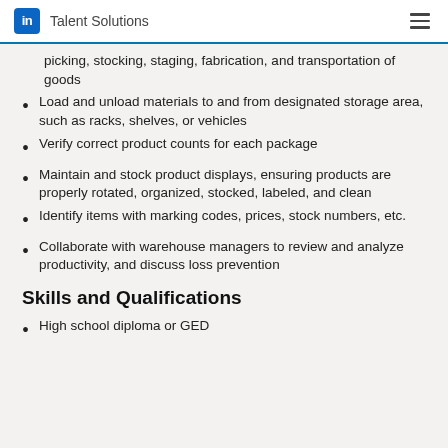in Talent Solutions
picking, stocking, staging, fabrication, and transportation of goods
Load and unload materials to and from designated storage area, such as racks, shelves, or vehicles
Verify correct product counts for each package
Maintain and stock product displays, ensuring products are properly rotated, organized, stocked, labeled, and clean
Identify items with marking codes, prices, stock numbers, etc.
Collaborate with warehouse managers to review and analyze productivity, and discuss loss prevention
Skills and Qualifications
High school diploma or GED